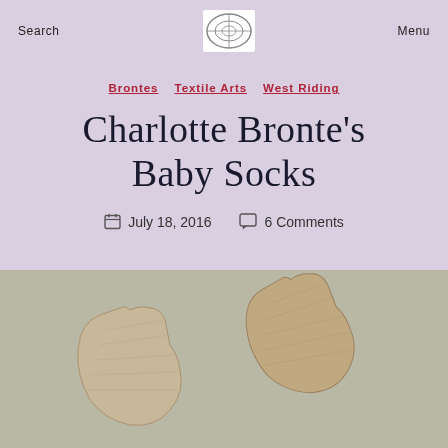Search   Menu
BRONTES   TEXTILE ARTS   WEST RIDING
Charlotte Bronte's Baby Socks
July 18, 2016   6 Comments
[Figure (photo): Photo of a pair of small knitted baby socks in a tan/beige color, placed on a grey-green background.]